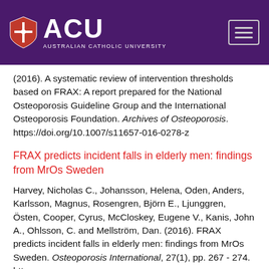[Figure (logo): Australian Catholic University (ACU) logo with shield and text on purple header background]
(2016). A systematic review of intervention thresholds based on FRAX: A report prepared for the National Osteoporosis Guideline Group and the International Osteoporosis Foundation. Archives of Osteoporosis. https://doi.org/10.1007/s11657-016-0278-z
FRAX predicts incident falls in elderly men: findings from MrOs Sweden
Harvey, Nicholas C., Johansson, Helena, Oden, Anders, Karlsson, Magnus, Rosengren, Björn E., Ljunggren, Östen, Cooper, Cyrus, McCloskey, Eugene V., Kanis, John A., Ohlsson, C. and Mellström, Dan. (2016). FRAX predicts incident falls in elderly men: findings from MrOs Sweden. Osteoporosis International, 27(1), pp. 267 - 274. http